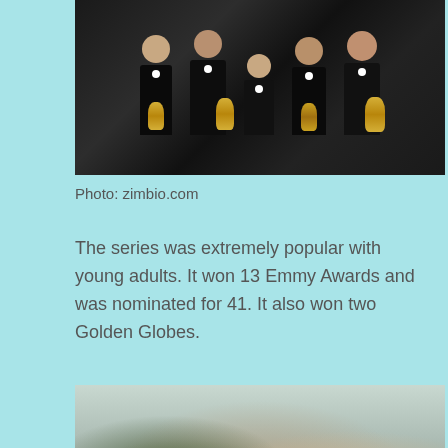[Figure (photo): Group of men in tuxedos holding Emmy Award trophies, posing for a photo]
Photo: zimbio.com
The series was extremely popular with young adults. It won 13 Emmy Awards and was nominated for 41. It also won two Golden Globes.
[Figure (photo): A man and woman sitting at a dinner table with wine glasses, a baby visible in the background, flowers on the table]